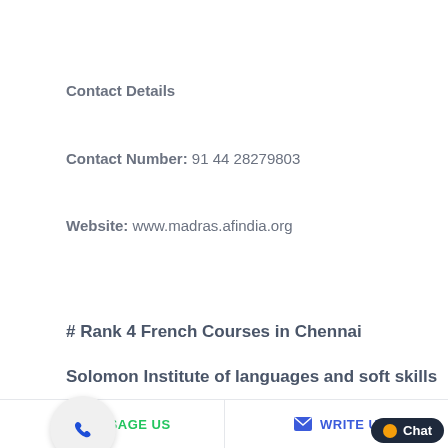Contact Details
Contact Number: 91 44 28279803
Website: www.madras.afindia.org
# Rank 4 French Courses in Chennai
Solomon Institute of languages and soft skills
MESSAGE US   WRITE U   Chat